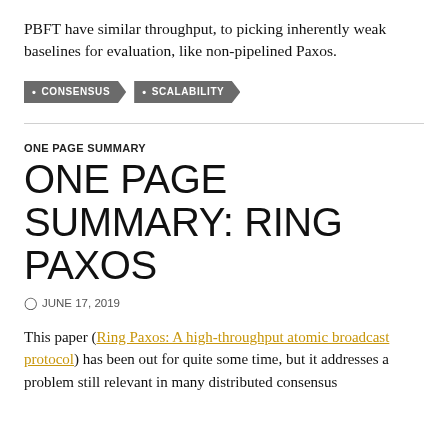PBFT have similar throughput, to picking inherently weak baselines for evaluation, like non-pipelined Paxos.
CONSENSUS
SCALABILITY
ONE PAGE SUMMARY
ONE PAGE SUMMARY: RING PAXOS
JUNE 17, 2019
This paper (Ring Paxos: A high-throughput atomic broadcast protocol) has been out for quite some time, but it addresses a problem still relevant in many distributed consensus